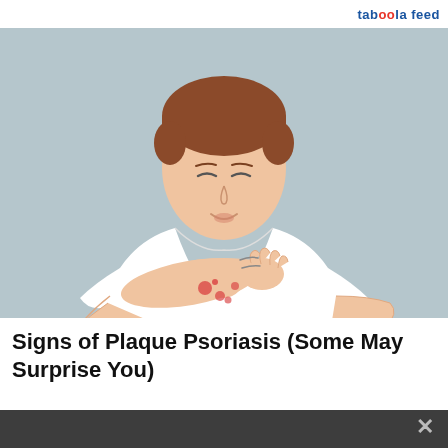taboola feed
[Figure (illustration): Cartoon illustration of a man in a white t-shirt scratching red spots on his forearm, looking distressed. The background is light blue-grey.]
Signs of Plaque Psoriasis (Some May Surprise You)
We and our partners use cookies on this site to improve our service, perform analytics, personalize advertising, measure advertising performance, and remember website preferences.
Ok